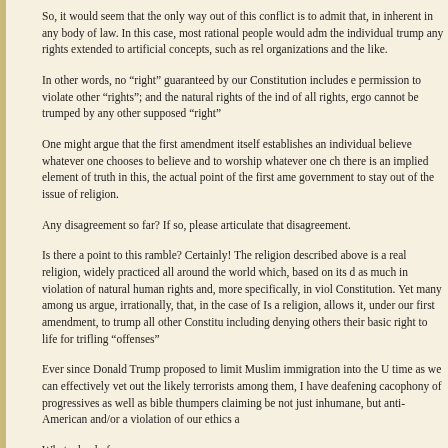So, it would seem that the only way out of this conflict is to admit that, in inherent in any body of law. In this case, most rational people would adm the individual trump any rights extended to artificial concepts, such as rel organizations and the like.
In other words, no “right” guaranteed by our Constitution includes e permission to violate other “rights”; and the natural rights of the ind of all rights, ergo cannot be trumped by any other supposed “right”
One might argue that the first amendment itself establishes an individual believe whatever one chooses to believe and to worship whatever one ch there is an implied element of truth in this, the actual point of the first ame government to stay out of the issue of religion.
Any disagreement so far? If so, please articulate that disagreement.
Is there a point to this ramble? Certainly! The religion described above is a real religion, widely practiced all around the world which, based on its d as much in violation of natural human rights and, more specifically, in viol Constitution. Yet many among us argue, irrationally, that, in the case of Is a religion, allows it, under our first amendment, to trump all other Constitu including denying others their basic right to life for trifling “offenses”
Ever since Donald Trump proposed to limit Muslim immigration into the U time as we can effectively vet out the likely terrorists among them, I have deafening cacophony of progressives as well as bible thumpers claiming be not just inhumane, but anti-American and/or a violation of our ethics a
What a load of crap.
The overriding point to creating a government in the first place is to pro